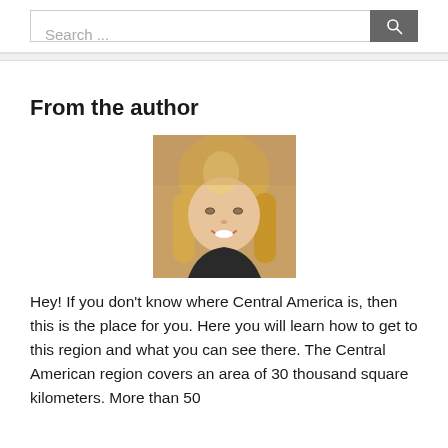Search ...
From the author
[Figure (photo): Headshot of a smiling blonde woman, the author of the article about Central America.]
Hey! If you don't know where Central America is, then this is the place for you. Here you will learn how to get to this region and what you can see there. The Central American region covers an area of 30 thousand square kilometers. More than 50